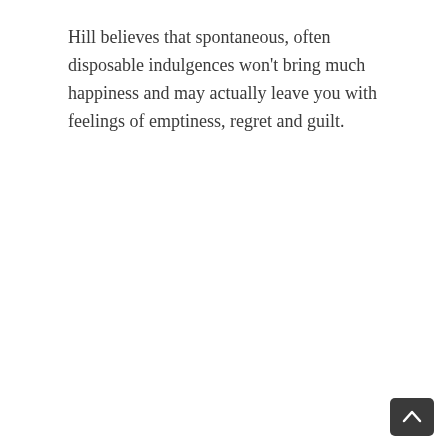Hill believes that spontaneous, often disposable indulgences won't bring much happiness and may actually leave you with feelings of emptiness, regret and guilt.